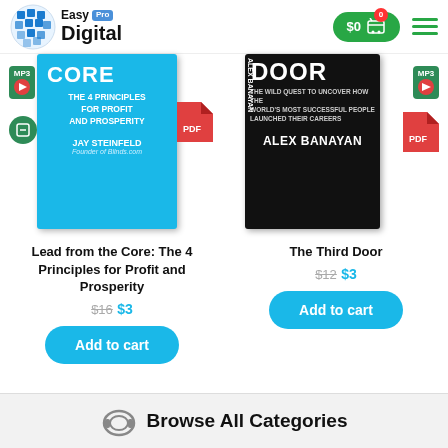[Figure (logo): Easy Digital Pro logo with globe icon]
[Figure (infographic): Shopping cart button showing $0 with 0 badge, and hamburger menu icon]
[Figure (photo): Book cover: Lead from the Core - The 4 Principles for Profit and Prosperity by Jay Steinfeld, with MP3 and PDF icons]
[Figure (photo): Book cover: The Third Door by Alex Banayan, with MP3 and PDF icons]
Lead from the Core: The 4 Principles for Profit and Prosperity
$16 $3
Add to cart
The Third Door
$12 $3
Add to cart
Browse All Categories